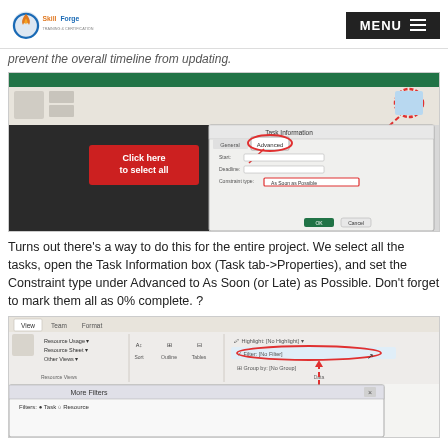SkillForge | MENU
prevent the overall timeline from updating.
[Figure (screenshot): Screenshot of Microsoft Project Task Information dialog box with 'Advanced' tab selected, showing Constraint type set to 'As Soon as Possible'. A red box highlights 'Click here to select all' on the left panel. A red circle and arrow point to the Advanced tab and another to a ribbon button at top right.]
Turns out there’s a way to do this for the entire project. We select all the tasks, open the Task Information box (Task tab->Properties), and set the Constraint type under Advanced to As Soon (or Late) as Possible. Don’t forget to mark them all as 0% complete. ?
[Figure (screenshot): Screenshot of Microsoft Project ribbon View tab showing the Data group with Filter dropdown set to '[No Filter]', with a red dashed arrow pointing to the Filter option. Also visible: Resource Usage, Resource Sheet, Other Views options, and a 'More Filters' dialog beginning to appear at the bottom.]